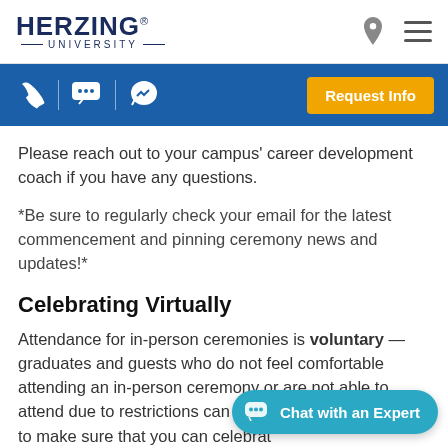HERZING UNIVERSITY
Please reach out to your campus' career development coach if you have any questions.
*Be sure to regularly check your email for the latest commencement and pinning ceremony news and updates!*
Celebrating Virtually
Attendance for in-person ceremonies is voluntary — graduates and guests who do not feel comfortable attending an in-person ceremony or are not able to attend due to restrictions can still watch th... to make sure that you can celebrate...